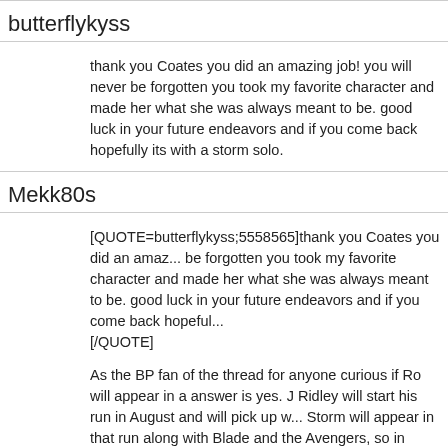butterflykyss
thank you Coates you did an amazing job! you will never be forgotten you took my favorite character and made her what she was always meant to be. good luck in your future endeavors and if you come back hopefully its with a storm solo.
Mekk80s
[QUOTE=butterflykyss;5558565]thank you Coates you did an amazing job! you will never be forgotten you took my favorite character and made her what she was always meant to be. good luck in your future endeavors and if you come back hopefully its with a storm solo.[/QUOTE]

As the BP fan of the thread for anyone curious if Ro will appear in a answer is yes. J Ridley will start his run in August and will pick up with Storm will appear in that run along with Blade and the Avengers, so in August. Storm is on the front cover of the debut issue drawn by A other characters i named, I'm sure Ridley will do her well.
butterflykyss